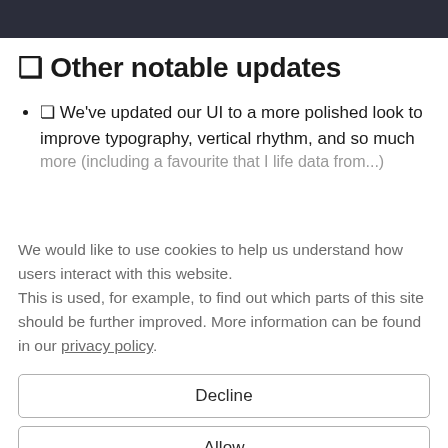❏ Other notable updates
❏ We've updated our UI to a more polished look to improve typography, vertical rhythm, and so much (including a favorite that I life data from...)
We would like to use cookies to help us understand how users interact with this website.
This is used, for example, to find out which parts of this site should be further improved. More information can be found in our privacy policy.
Decline
Allow